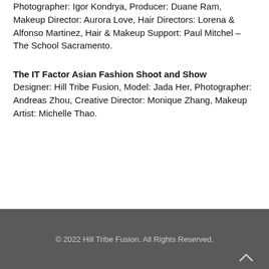Photographer: Igor Kondrya, Producer: Duane Ram, Makeup Director: Aurora Love, Hair Directors: Lorena & Alfonso Martinez, Hair & Makeup Support: Paul Mitchel – The School Sacramento.
The IT Factor Asian Fashion Shoot and Show
Designer: Hill Tribe Fusion, Model: Jada Her, Photographer: Andreas Zhou, Creative Director: Monique Zhang, Makeup Artist: Michelle Thao.
© 2022 Hill Tribe Fusion. All Rights Reserved.